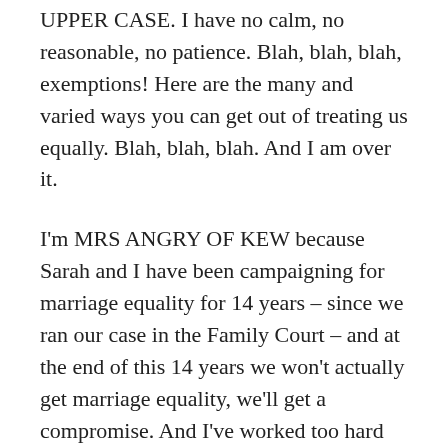UPPER CASE. I have no calm, no reasonable, no patience. Blah, blah, blah, exemptions! Here are the many and varied ways you can get out of treating us equally. Blah, blah, blah. And I am over it.
I'm MRS ANGRY OF KEW because Sarah and I have been campaigning for marriage equality for 14 years – since we ran our case in the Family Court – and at the end of this 14 years we won't actually get marriage equality, we'll get a compromise. And I've worked too hard for too long for a compromise. And that really pisses me off.